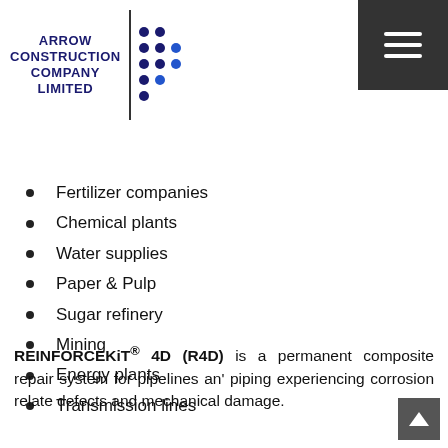[Figure (logo): Arrow Construction Company Limited logo with dot grid pattern and hamburger menu icon]
Fertilizer companies
Chemical plants
Water supplies
Paper & Pulp
Sugar refinery
Mining
Energy plants
Transmission lines
REINFORCEKiT® 4D (R4D) is a permanent composite repair system for pipelines an' piping experiencing corrosion relate defects and mechanical damage.